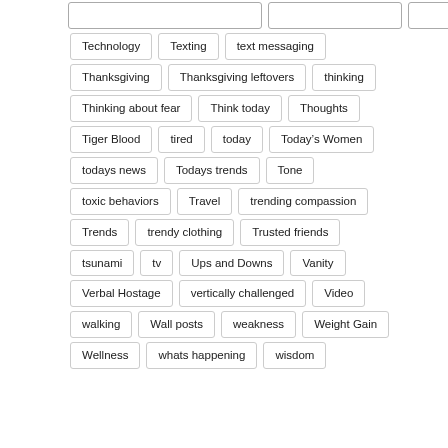Technology
Texting
text messaging
Thanksgiving
Thanksgiving leftovers
thinking
Thinking about fear
Think today
Thoughts
Tiger Blood
tired
today
Today's Women
todays news
Todays trends
Tone
toxic behaviors
Travel
trending compassion
Trends
trendy clothing
Trusted friends
tsunami
tv
Ups and Downs
Vanity
Verbal Hostage
vertically challenged
Video
walking
Wall posts
weakness
Weight Gain
Wellness
whats happening
wisdom